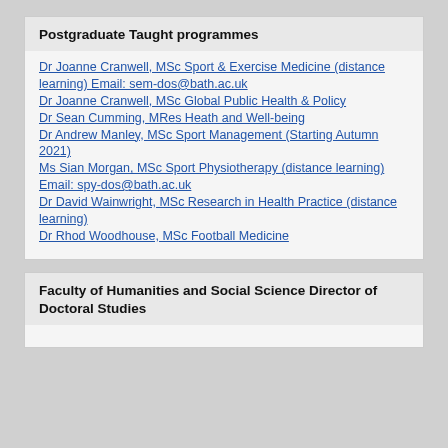Postgraduate Taught programmes
Dr Joanne Cranwell, MSc Sport & Exercise Medicine (distance learning) Email: sem-dos@bath.ac.uk
Dr Joanne Cranwell, MSc Global Public Health & Policy
Dr Sean Cumming, MRes Heath and Well-being
Dr Andrew Manley, MSc Sport Management (Starting Autumn 2021)
Ms Sian Morgan, MSc Sport Physiotherapy (distance learning) Email: spy-dos@bath.ac.uk
Dr David Wainwright, MSc Research in Health Practice (distance learning)
Dr Rhod Woodhouse, MSc Football Medicine
Faculty of Humanities and Social Science Director of Doctoral Studies